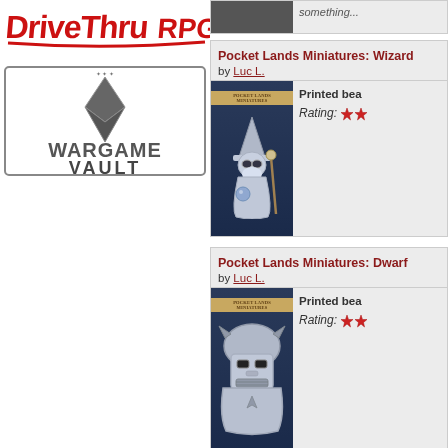[Figure (logo): DriveThruRPG logo - red stylized text on white]
[Figure (logo): Wargame Vault logo - metallic emblem with V and text]
Pocket Lands Miniatures: Wizard
by Luc L.
[Figure (photo): 3D printed wizard miniature figure with hat and staff, silver/metal look, dark blue background, Pocket Lands Miniatures banner]
Printed bea
Rating:
Pocket Lands Miniatures: Dwarf
by Luc L.
[Figure (photo): 3D printed dwarf face/helmet miniature, silver/metal look, dark blue background, Pocket Lands Miniatures banner]
Printed bea
Rating:
Pocket Lands Miniatures: Cleric
by Luc L.